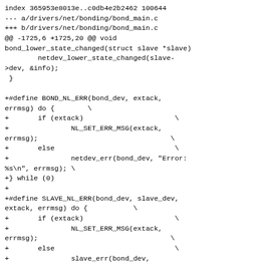index 365953e8013e..c0db4e2b2462 100644
--- a/drivers/net/bonding/bond_main.c
+++ b/drivers/net/bonding/bond_main.c
@@ -1725,6 +1725,20 @@ void bond_lower_state_changed(struct slave *slave)
        netdev_lower_state_changed(slave->dev, &info);
 }

+#define BOND_NL_ERR(bond_dev, extack, errmsg) do {        \
+       if (extack)                                         \
+               NL_SET_ERR_MSG(extack, errmsg);             \
+       else                                                \
+               netdev_err(bond_dev, "Error: %s\n", errmsg); \
+} while (0)
+
+#define SLAVE_NL_ERR(bond_dev, slave_dev, extack, errmsg) do {        \
+       if (extack)                                         \
+               NL_SET_ERR_MSG(extack, errmsg);             \
+       else                                                \
+               slave_err(bond_dev,